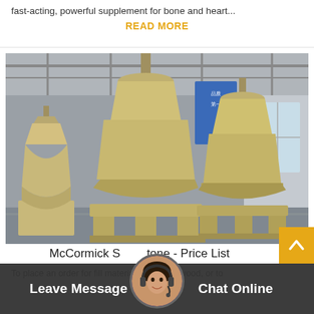fast-acting, powerful supplement for bone and heart...
READ MORE
[Figure (photo): Industrial yellow cone crusher / VSI sand-making machines inside a large factory warehouse. Multiple units arranged in rows, painted yellow/beige, with conical tops and sturdy metal frames.]
[Figure (photo): Scroll-to-top button (orange background with white upward chevron)]
McCormick Stone - Price List
To place an order for fill materials or broiler wood, or to
Leave Message
Chat Online
[Figure (photo): Customer service agent avatar photo — woman with headset]